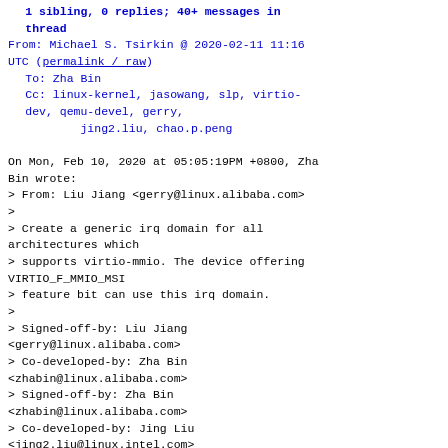1 sibling, 0 replies; 40+ messages in thread
From: Michael S. Tsirkin @ 2020-02-11 11:16 UTC (permalink / raw)
  To: Zha Bin
  Cc: linux-kernel, jasowang, slp, virtio-dev, qemu-devel, gerry,
          jing2.liu, chao.p.peng

On Mon, Feb 10, 2020 at 05:05:19PM +0800, Zha Bin wrote:
> From: Liu Jiang <gerry@linux.alibaba.com>
>
> Create a generic irq domain for all architectures which
> supports virtio-mmio. The device offering VIRTIO_F_MMIO_MSI
> feature bit can use this irq domain.
>
> Signed-off-by: Liu Jiang <gerry@linux.alibaba.com>
> Co-developed-by: Zha Bin <zhabin@linux.alibaba.com>
> Signed-off-by: Zha Bin <zhabin@linux.alibaba.com>
> Co-developed-by: Jing Liu <jing2.liu@linux.intel.com>
> Signed-off-by: Jing Liu <jing2.liu@linux.intel.com>
> Co-developed-by: Chao Peng